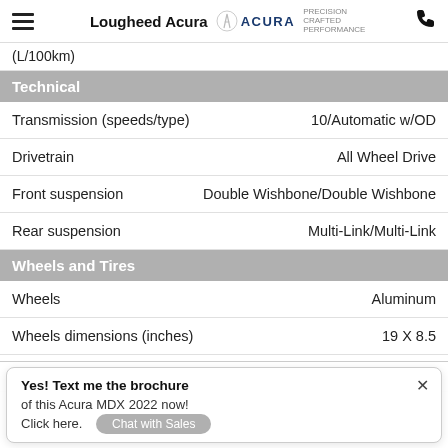Lougheed Acura
(L/100km)
Technical
| Spec | Value |
| --- | --- |
| Transmission (speeds/type) | 10/Automatic w/OD |
| Drivetrain | All Wheel Drive |
| Front suspension | Double Wishbone/Double Wishbone |
| Rear suspension | Multi-Link/Multi-Link |
Wheels and Tires
| Spec | Value |
| --- | --- |
| Wheels | Aluminum |
| Wheels dimensions (inches) | 19 X 8.5 |
| Tires | P255/55HR19 |
Yes! Text me the brochure of this Acura MDX 2022 now! Click here.